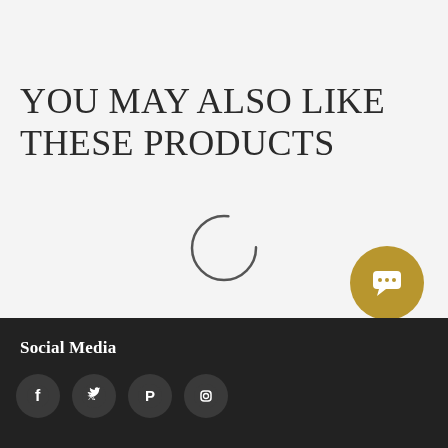YOU MAY ALSO LIKE THESE PRODUCTS
[Figure (other): Loading spinner (partial circle arc) indicating content is loading]
[Figure (other): Golden circular chat/message button with speech bubble icon]
Social Media
[Figure (other): Social media icon row: Facebook, Twitter, Pinterest, Instagram]
Social Media section with Facebook, Twitter, Pinterest, Instagram icons